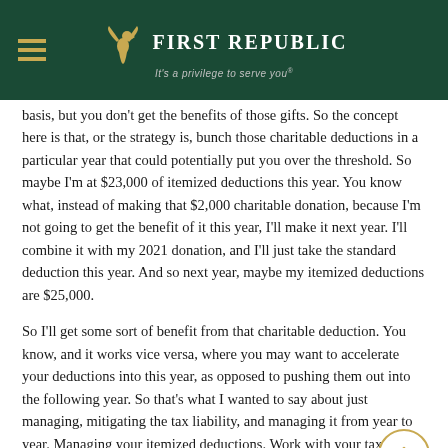First Republic — It's a privilege to serve you®
basis, but you don't get the benefits of those gifts. So the concept here is that, or the strategy is, bunch those charitable deductions in a particular year that could potentially put you over the threshold. So maybe I'm at $23,000 of itemized deductions this year. You know what, instead of making that $2,000 charitable donation, because I'm not going to get the benefit of it this year, I'll make it next year. I'll combine it with my 2021 donation, and I'll just take the standard deduction this year. And so next year, maybe my itemized deductions are $25,000.
So I'll get some sort of benefit from that charitable deduction. You know, and it works vice versa, where you may want to accelerate your deductions into this year, as opposed to pushing them out into the following year. So that's what I wanted to say about just managing, mitigating the tax liability, and managing it from year to year. Managing your itemized deductions. Work with your tax accountant,